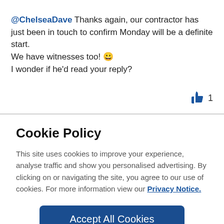@ChelseaDave Thanks again, our contractor has just been in touch to confirm Monday will be a definite start. We have witnesses too! 😀
I wonder if he'd read your reply?
👍 1
Cookie Policy
This site uses cookies to improve your experience, analyse traffic and show you personalised advertising. By clicking on or navigating the site, you agree to our use of cookies. For more information view our Privacy Notice.
Accept All Cookies